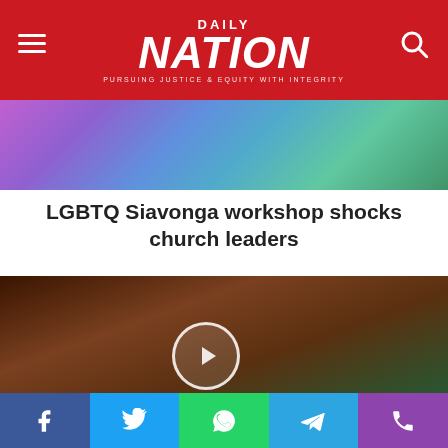[Figure (logo): Daily Nation newspaper logo on red header bar with hamburger menu icon on left and search icon on right]
[Figure (photo): Colorful image partially visible showing rainbow/pride colors at the top of page]
LGBTQ Siavonga workshop shocks church leaders
[Figure (photo): Photo of an older man with gray hair seated at a desk with a green flag in background, with a circular play button overlay]
PF PROTESTS TO EU OVER LGBTQ
[Figure (infographic): Social media sharing bar at bottom with Facebook, Twitter, WhatsApp, Telegram, and phone icons]